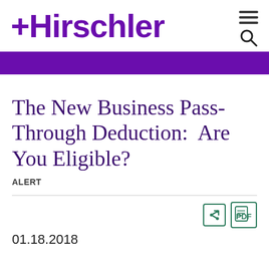+Hirschler
The New Business Pass-Through Deduction:  Are You Eligible?
ALERT
01.18.2018